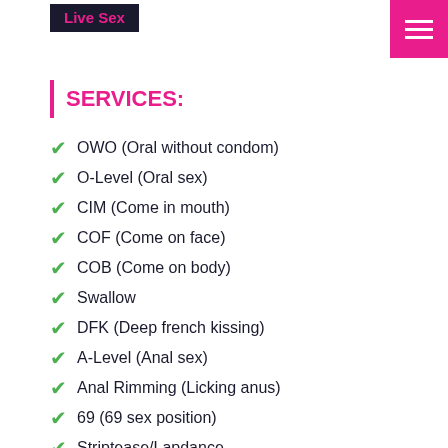Live Sex
SERVICES:
OWO (Oral without condom)
O-Level (Oral sex)
CIM (Come in mouth)
COF (Come on face)
COB (Come on body)
Swallow
DFK (Deep french kissing)
A-Level (Anal sex)
Anal Rimming (Licking anus)
69 (69 sex position)
Striptease/Lapdance
Erotic massage